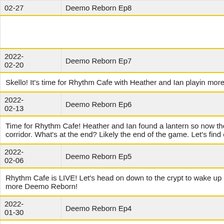| Date | Title | Link |
| --- | --- | --- |
| 2022-02-27 | Deemo Reborn Ep8 | Link |
| (description row) | Skello! It's time for Rhythm Cafe with Heather and Ian playin more Deemo Reborn. |  |
| 2022-02-20 | Deemo Reborn Ep7 | Link |
| (description row) | Skello! It's time for Rhythm Cafe with Heather and Ian playin more Deemo Reborn. |  |
| 2022-02-13 | Deemo Reborn Ep6 | Link |
| (description row) | Time for Rhythm Cafe! Heather and Ian found a lantern so now they can go down the spooky corridor. What's at the end? Likely the end of the game. Let's find out! |  |
| 2022-02-06 | Deemo Reborn Ep5 | Link |
| (description row) | Rhythm Cafe is LIVE! Let's head on down to the crypt to wake up Deemo again. It's time for more Deemo Reborn! |  |
| 2022-01-30 | Deemo Reborn Ep4 | Link |
| (description row) | Rejoice. Deemo is Reborn. Again. Time for |  |